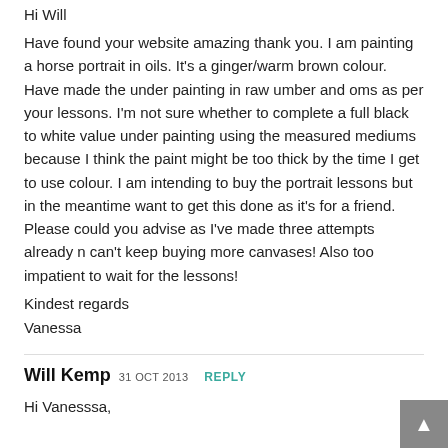Hi Will
Have found your website amazing thank you. I am painting a horse portrait in oils. It's a ginger/warm brown colour. Have made the under painting in raw umber and oms as per your lessons. I'm not sure whether to complete a full black to white value under painting using the measured mediums because I think the paint might be too thick by the time I get to use colour. I am intending to buy the portrait lessons but in the meantime want to get this done as it's for a friend. Please could you advise as I've made three attempts already n can't keep buying more canvases! Also too impatient to wait for the lessons!
Kindest regards
Vanessa
Will Kemp  31 OCT 2013  REPLY
Hi Vanesssa,